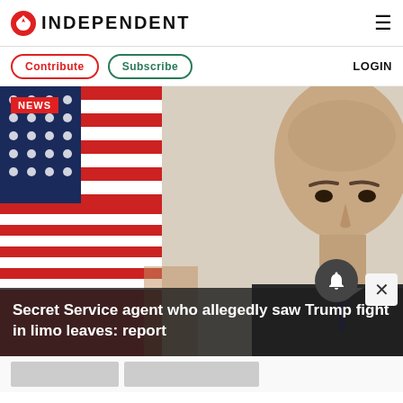INDEPENDENT
Contribute  Subscribe  LOGIN
[Figure (photo): Close-up portrait of a bald man in a suit with an American flag background. Red NEWS badge overlaid top-left. Dark overlay at bottom with headline text.]
Secret Service agent who allegedly saw Trump fight in limo leaves: report